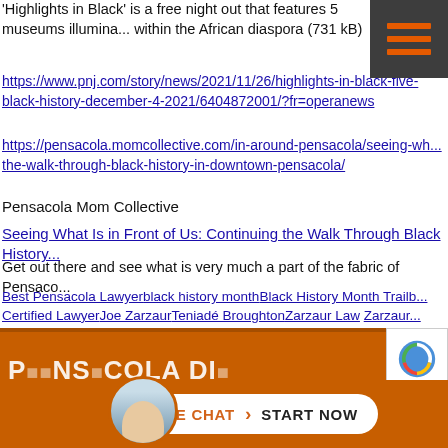'Highlights in Black' is a free night out that features 5 museums illuminating the history within the African diaspora (731 kB)
https://www.pnj.com/story/news/2021/11/26/highlights-in-black-five-black-history-december-4-2021/6404872001/?fr=operanews
https://pensacola.momcollective.com/in-around-pensacola/seeing-wh... the-walk-through-black-history-in-downtown-pensacola/
Pensacola Mom Collective
Seeing What Is in Front of Us: Continuing the Walk Through Black History
Get out there and see what is very much a part of the fabric of Pensaco...
Best Pensacola Lawyerblack history monthBlack History Month Trailb... Certified LawyerJoe ZarzaurTeniadé BroughtonZarzaur Law Zarzaur...
[Figure (screenshot): Orange website banner with 'PENSACOLA' text partially visible, a live chat widget at the bottom with a man's avatar photo, LIVE CHAT > START NOW pill button, and a reCAPTCHA badge.]